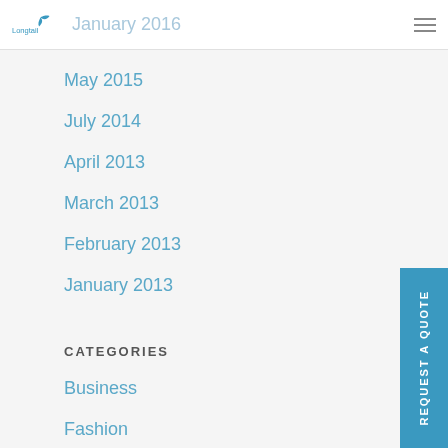Longtail [logo] January 2016
May 2015
July 2014
April 2013
March 2013
February 2013
January 2013
CATEGORIES
Business
Fashion